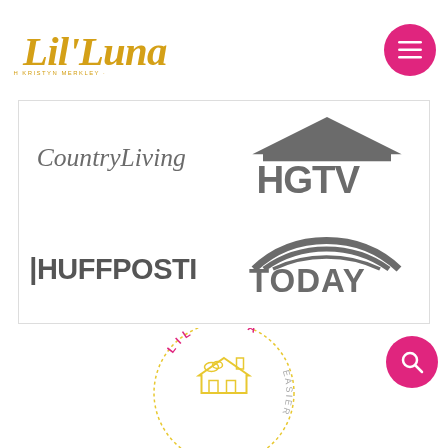[Figure (logo): Lil' Luna with Kristyn Merkley script logo in gold/yellow]
[Figure (logo): Pink circle hamburger menu button]
[Figure (logo): CountryLiving logo in gray]
[Figure (logo): HGTV logo in gray with house icon]
[Figure (logo): HuffPost logo in gray bold text]
[Figure (logo): TODAY logo in gray with rainbow arc]
[Figure (logo): Lil Luna circular badge logo in pink and yellow]
[Figure (logo): Pink circle search button with magnifying glass]